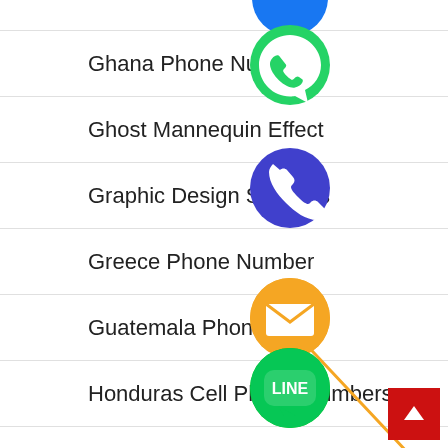Ghana Phone Number
Ghost Mannequin Effect
Graphic Design Services
Greece Phone Number
Guatemala Phone Number
Honduras Cell Phone Numbers
How it Work
Hungary Phone Number
[Figure (illustration): Stack of social media app icons (WhatsApp green, Viber blue/purple, email orange, LINE green, Viber purple, close green) overlaid on the list, plus a back-to-top red button]